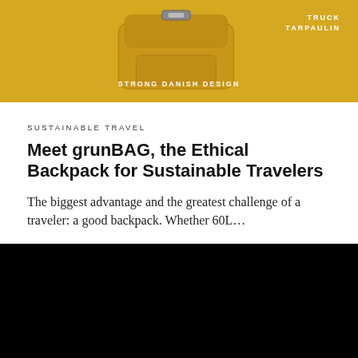[Figure (photo): Yellow/golden background product image of a backpack made from truck tarpaulin material with text 'STRONG DANISH DESIGN' at the bottom center and 'TRUCK TARPAULIN' at the top right]
SUSTAINABLE TRAVEL
Meet grunBAG, the Ethical Backpack for Sustainable Travelers
The biggest advantage and the greatest challenge of a traveler: a good backpack. Whether 60L...
[Figure (photo): Black image, likely a photo that has not loaded or is a dark-themed image]